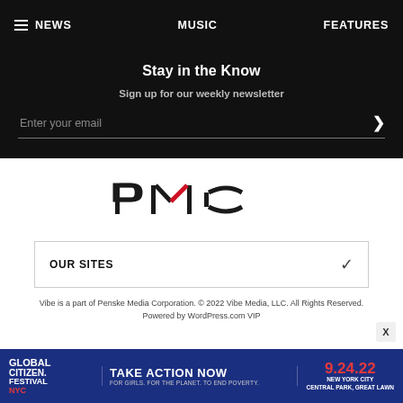NEWS  MUSIC  FEATURES
Stay in the Know
Sign up for our weekly newsletter
Enter your email
[Figure (logo): PMC (Penske Media Corporation) logo in black with a red chevron accent]
OUR SITES
Vibe is a part of Penske Media Corporation. © 2022 Vibe Media, LLC. All Rights Reserved. Powered by WordPress.com VIP
[Figure (infographic): Global Citizen Festival NYC advertisement banner: TAKE ACTION NOW FOR GIRLS. FOR THE PLANET. TO END POVERTY. 9.24.22 NEW YORK CITY CENTRAL PARK, GREAT LAWN]